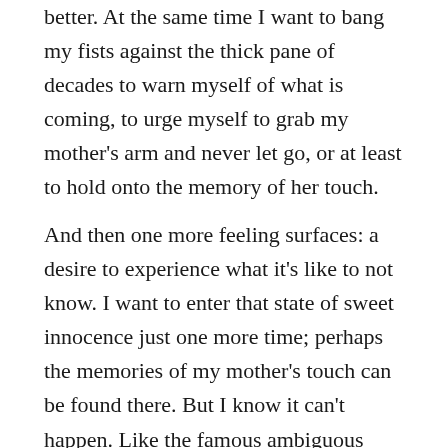better. At the same time I want to bang my fists against the thick pane of decades to warn myself of what is coming, to urge myself to grab my mother's arm and never let go, or at least to hold onto the memory of her touch.
And then one more feeling surfaces: a desire to experience what it's like to not know. I want to enter that state of sweet innocence just one more time; perhaps the memories of my mother's touch can be found there. But I know it can't happen. Like the famous ambiguous figures I show to students in my Cognitive Psychology class every year, once you become aware of the existence of a hidden configuration within something you can never go back